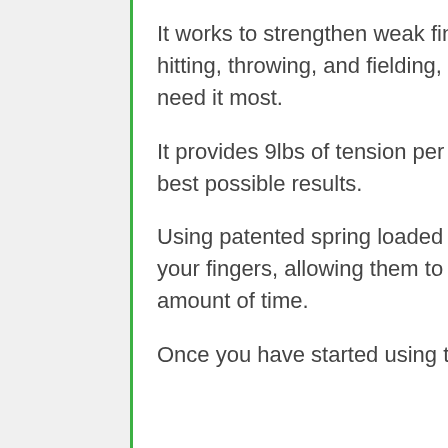It works to strengthen weak fingers, allowing you to become better at hitting, throwing, and fielding, as well as improving your grip when you need it most.
It provides 9lbs of tension per finger, working them hard to achieve the best possible results.
Using patented spring loaded technology, it is able to challenge each of your fingers, allowing them to become the strongest they can in a good amount of time.
Once you have started using this every day, you can be sure to find that